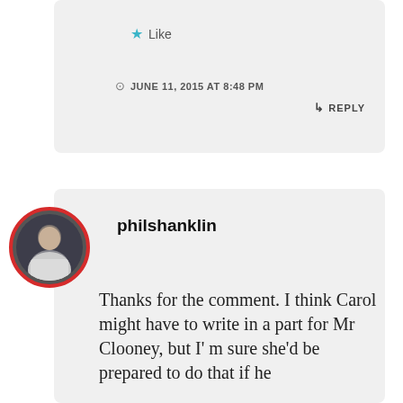★ Like
JUNE 11, 2015 AT 8:48 PM
↳ REPLY
[Figure (photo): Circular avatar photo of philshanklin with red border]
philshanklin
Thanks for the comment. I think Carol might have to write in a part for Mr Clooney, but I' m sure she'd be prepared to do that if he